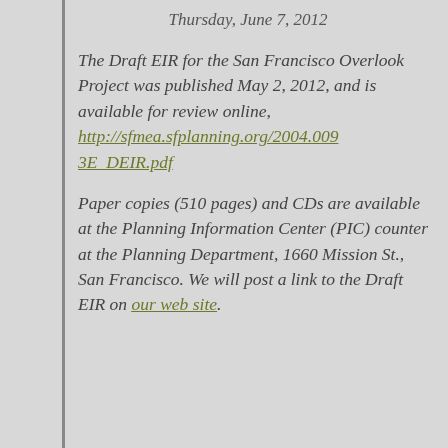Thursday, June 7, 2012
The Draft EIR for the San Francisco Overlook Project was published May 2, 2012, and is available for review online, http://sfmea.sfplanning.org/2004.0093E_DEIR.pdf
Paper copies (510 pages) and CDs are available at the Planning Information Center (PIC) counter at the Planning Department, 1660 Mission St., San Francisco. We will post a link to the Draft EIR on our web site.